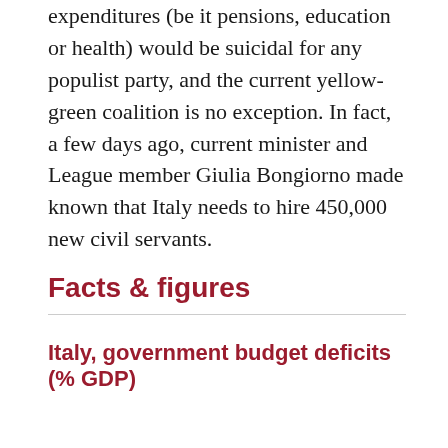expenditures (be it pensions, education or health) would be suicidal for any populist party, and the current yellow-green coalition is no exception. In fact, a few days ago, current minister and League member Giulia Bongiorno made known that Italy needs to hire 450,000 new civil servants.
Facts & figures
Italy, government budget deficits (% GDP)